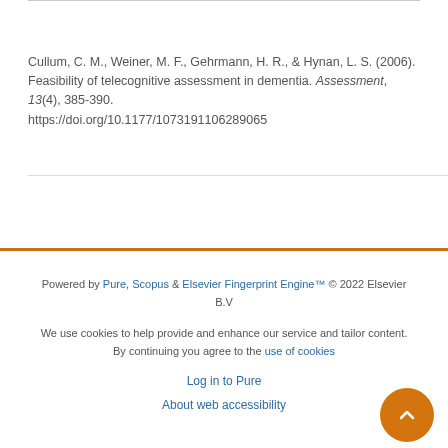Cullum, C. M., Weiner, M. F., Gehrmann, H. R., & Hynan, L. S. (2006). Feasibility of telecognitive assessment in dementia. Assessment, 13(4), 385-390. https://doi.org/10.1177/1073191106289065
Powered by Pure, Scopus & Elsevier Fingerprint Engine™ © 2022 Elsevier B.V
We use cookies to help provide and enhance our service and tailor content. By continuing you agree to the use of cookies
Log in to Pure
About web accessibility